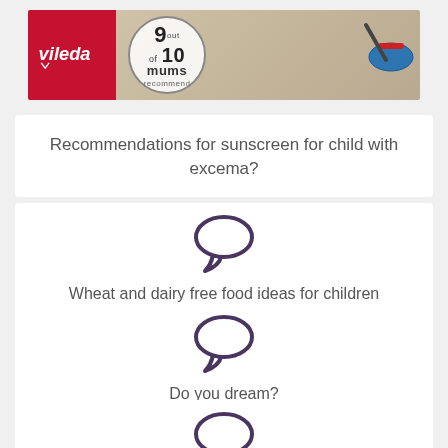[Figure (photo): Vileda advertisement banner showing brand logo, '9 out of 10 mums recommend' badge, and a mop on wooden floor background]
Recommendations for sunscreen for child with excema?
[Figure (illustration): Speech bubble icon in purple/dark purple color]
Wheat and dairy free food ideas for children
[Figure (illustration): Speech bubble icon in purple/dark purple color]
Do you dream?
[Figure (illustration): Speech bubble icon in purple/dark purple color]